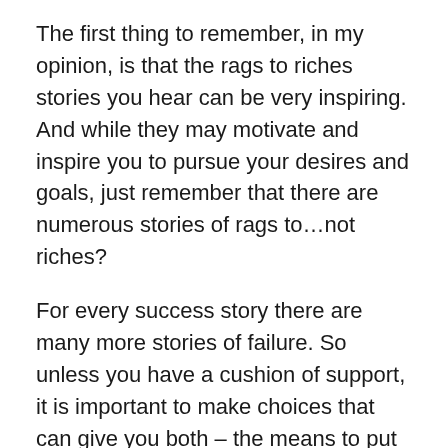The first thing to remember, in my opinion, is that the rags to riches stories you hear can be very inspiring. And while they may motivate and inspire you to pursue your desires and goals, just remember that there are numerous stories of rags to…not riches?
For every success story there are many more stories of failure. So unless you have a cushion of support, it is important to make choices that can give you both – the means to put the bread on the table and the time to focus on your purpose.
This means that you need to build your life around your desires, in ways that support